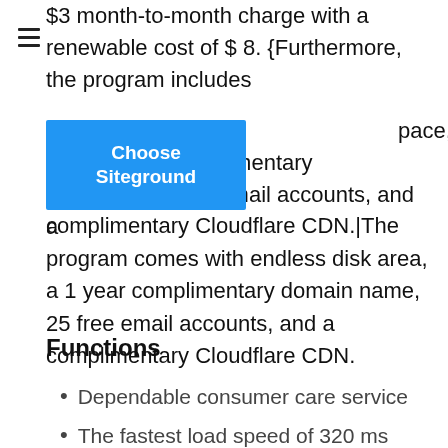$3 month-to-month charge with a renewable cost of $ 8. {Furthermore, the program includes
[Figure (other): Blue 'Choose Siteground' button overlapping text]
pace, an one-year complimentary e email accounts, and a complimentary Cloudflare CDN.|The program comes with endless disk area, a 1 year complimentary domain name, 25 free email accounts, and a complimentary Cloudflare CDN.
Functions
Dependable consumer care service
The fastest load speed of 320 ms